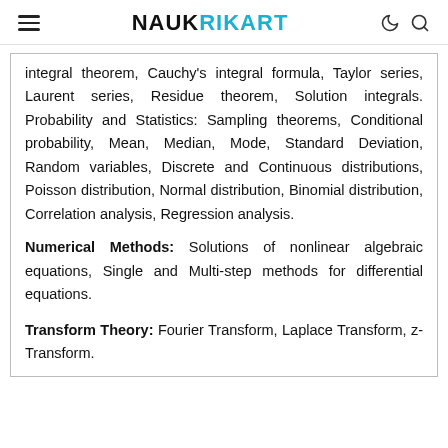NAUKRIKART
integral theorem, Cauchy's integral formula, Taylor series, Laurent series, Residue theorem, Solution integrals. Probability and Statistics: Sampling theorems, Conditional probability, Mean, Median, Mode, Standard Deviation, Random variables, Discrete and Continuous distributions, Poisson distribution, Normal distribution, Binomial distribution, Correlation analysis, Regression analysis.
Numerical Methods: Solutions of nonlinear algebraic equations, Single and Multi-step methods for differential equations.
Transform Theory: Fourier Transform, Laplace Transform, z-Transform.